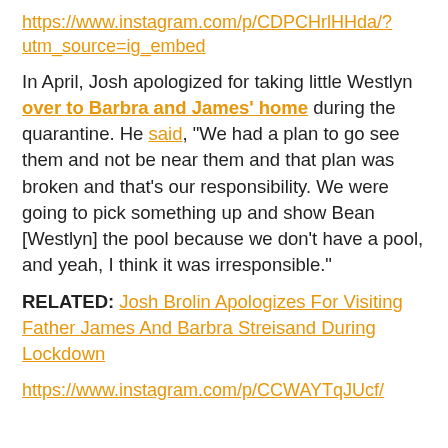https://www.instagram.com/p/CDPCHrlHHda/?utm_source=ig_embed
In April, Josh apologized for taking little Westlyn over to Barbra and James' home during the quarantine. He said, “We had a plan to go see them and not be near them and that plan was broken and that’s our responsibility. We were going to pick something up and show Bean [Westlyn] the pool because we don’t have a pool, and yeah, I think it was irresponsible.”
RELATED: Josh Brolin Apologizes For Visiting Father James And Barbra Streisand During Lockdown
https://www.instagram.com/p/CCWAYTqJUcf/